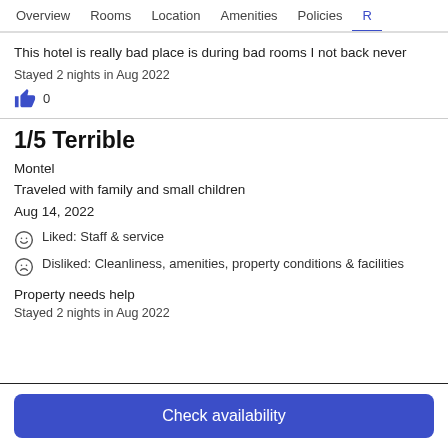Overview  Rooms  Location  Amenities  Policies  R
This hotel is really bad place is during bad rooms I not back never
Stayed 2 nights in Aug 2022
👍 0
1/5 Terrible
Montel
Traveled with family and small children
Aug 14, 2022
Liked: Staff & service
Disliked: Cleanliness, amenities, property conditions & facilities
Property needs help
Stayed 2 nights in Aug 2022
Check availability